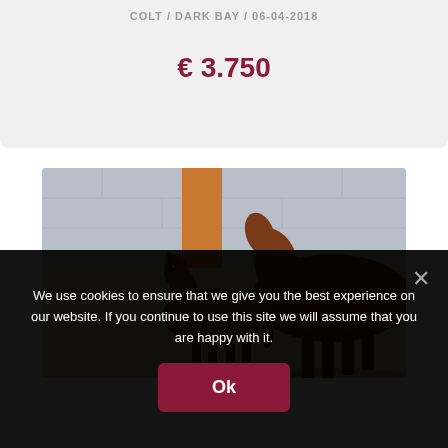COLT / DARK BAY / 06-04-2018
€ 3.750
[Figure (photo): A dark bay foal walking alongside an adult bay horse in an indoor stable with orange pillar and light blue block wall background.]
We use cookies to ensure that we give you the best experience on our website. If you continue to use this site we will assume that you are happy with it.
Ok